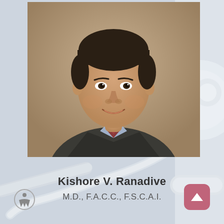[Figure (photo): Professional headshot of Dr. Kishore V. Ranadive, a man in a dark suit with a red patterned tie and light blue shirt, smiling, against a beige/tan background.]
Kishore V. Ranadive
M.D., F.A.C.C., F.S.C.A.I.